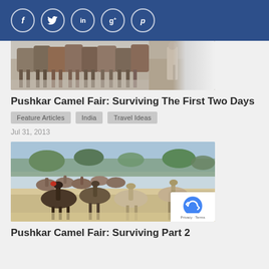[Figure (screenshot): Social media share bar with Facebook, Twitter, LinkedIn, Google+, and Pinterest icons in white circles on dark blue background]
[Figure (photo): Close-up photo of camel legs and a man in white clothing at Pushkar Camel Fair]
Pushkar Camel Fair: Surviving The First Two Days
Feature Articles
India
Travel Ideas
Jul 31, 2013
[Figure (photo): Photo of a large herd of camels in a desert landscape with trees in the background at Pushkar Camel Fair]
Pushkar Camel Fair: Surviving Part 2